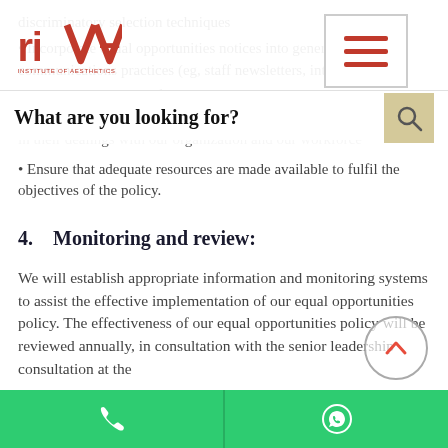RIVA INSTITUTE OF AESTHETICS
discriminatory selection techniques
Incorporate equal opportunities notices into general communications practices (eg, staff newsletters, intranet)
Obtain commitments from other persons or organizations such as subcontractors or agencies that they too will comply with the policy in their dealings with our organization and our workforce
Ensure that adequate resources are made available to fulfil the objectives of the policy.
4.   Monitoring and review:
We will establish appropriate information and monitoring systems to assist the effective implementation of our equal opportunities policy. The effectiveness of our equal opportunities policy will be reviewed annually, in consultation with the senior leadership consultation at the